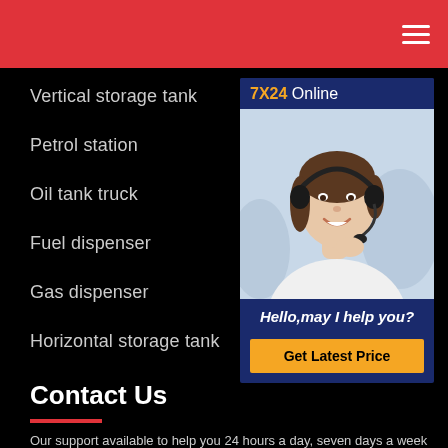Navigation bar with hamburger menu
Vertical storage tank
Petrol station
Oil tank truck
Fuel dispenser
Gas dispenser
Horizontal storage tank
[Figure (photo): 7X24 Online widget with a smiling woman wearing a headset, text 'Hello,may I help you?' and a 'Get Latest Price' button]
Contact Us
Our support available to help you 24 hours a day, seven days a week